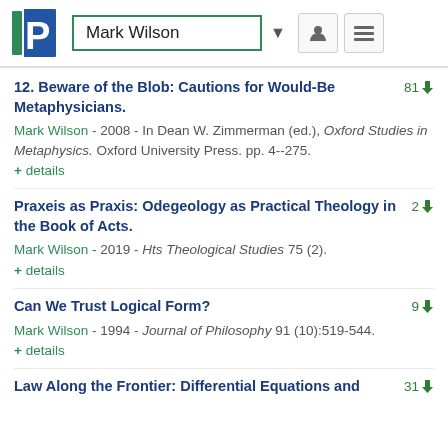Mark Wilson
12. Beware of the Blob: Cautions for Would-Be Metaphysicians.
Mark Wilson - 2008 - In Dean W. Zimmerman (ed.), Oxford Studies in Metaphysics. Oxford University Press. pp. 4--275.
+ details
Praxeis as Praxis: Odegeology as Practical Theology in the Book of Acts.
Mark Wilson - 2019 - Hts Theological Studies 75 (2).
+ details
Can We Trust Logical Form?
Mark Wilson - 1994 - Journal of Philosophy 91 (10):519-544.
+ details
Law Along the Frontier: Differential Equations and